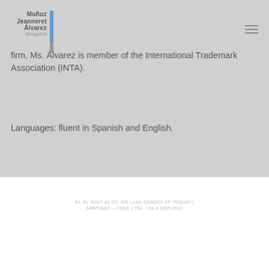[Figure (logo): Muñoz Jeanneret Álvarez Abogados law firm logo with blue and gray vertical bar]
firm, Ms. Álvarez is member of the International Trademark Association (INTA).
Languages: fluent in Spanish and English.
AV. EL GOLF 82 OF. 202 | LAS CONDES CP 7550107 | SANTIAGO – CHILE | TEL. +56 2 2245 6610